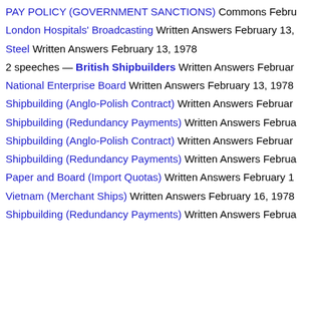PAY POLICY (GOVERNMENT SANCTIONS) Commons Febru...
London Hospitals' Broadcasting Written Answers February 13,
Steel Written Answers February 13, 1978
2 speeches — British Shipbuilders Written Answers Februar...
National Enterprise Board Written Answers February 13, 1978
Shipbuilding (Anglo-Polish Contract) Written Answers Februar...
Shipbuilding (Redundancy Payments) Written Answers Februa...
Shipbuilding (Anglo-Polish Contract) Written Answers Februar...
Shipbuilding (Redundancy Payments) Written Answers Februa...
Paper and Board (Import Quotas) Written Answers February 1...
Vietnam (Merchant Ships) Written Answers February 16, 1978
Shipbuilding (Redundancy Payments) Written Answers Februa...